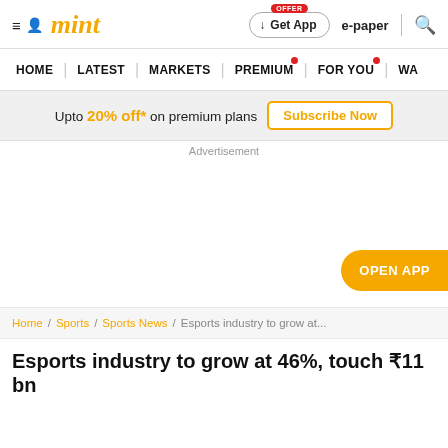mint — HOME | LATEST | MARKETS | PREMIUM | FOR YOU | WA...
Upto 20% off* on premium plans  Subscribe Now
Advertisement
OPEN APP
Home / Sports / Sports News / Esports industry to grow at...
Esports industry to grow at 46%, touch ₹11 bn